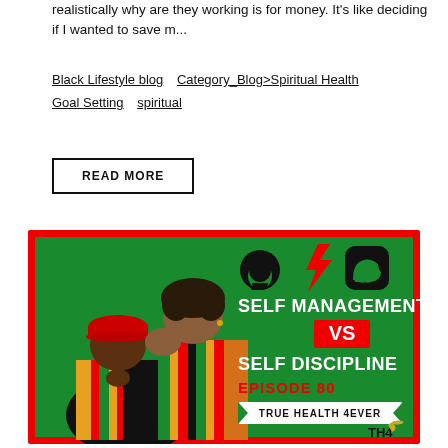realistically why are they working is for money. It's like deciding if I wanted to save m...
Black Lifestyle blog   Category_Blog>Spiritual Health   Goal Setting   spiritual
READ MORE
[Figure (photo): Promotional image with green background and red border showing two people in African print clothing. Text overlay reads: SELF MANAGEMENT VS SELF DISCIPLINE EPISODE 80 TRUE HEALTH 4EVER. Icons of a head, lightning bolt, and muscle arm are shown. TH4 logo at bottom right.]